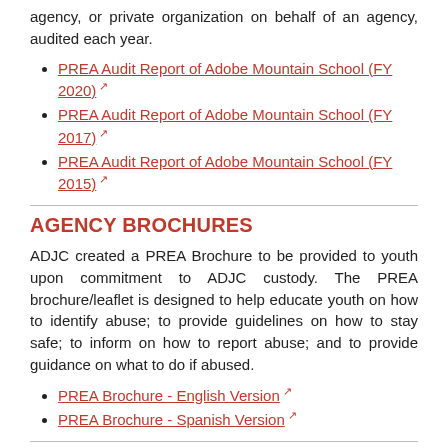agency, or private organization on behalf of an agency, audited each year.
PREA Audit Report of Adobe Mountain School (FY 2020)
PREA Audit Report of Adobe Mountain School (FY 2017)
PREA Audit Report of Adobe Mountain School (FY 2015)
AGENCY BROCHURES
ADJC created a PREA Brochure to be provided to youth upon commitment to ADJC custody. The PREA brochure/leaflet is designed to help educate youth on how to identify abuse; to provide guidelines on how to stay safe; to inform on how to report abuse; and to provide guidance on what to do if abused.
PREA Brochure - English Version
PREA Brochure - Spanish Version
PROJECT ZERO TOLERANCE